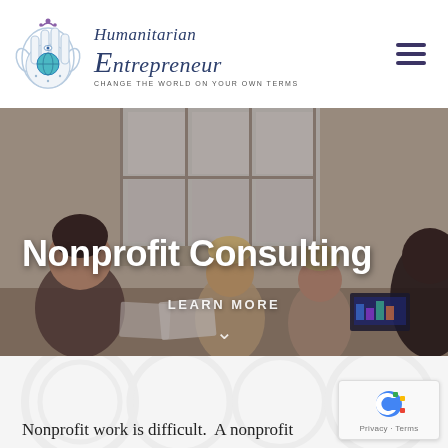[Figure (logo): Humanitarian Entrepreneur logo with hamsa hand holding globe and italic script brand name, tagline: CHANGE THE WORLD ON YOUR OWN TERMS]
Nonprofit Consulting
LEARN MORE
[Figure (photo): Business meeting scene with people seated around a table, bright windows in background]
Nonprofit work is difficult.  A nonprofit